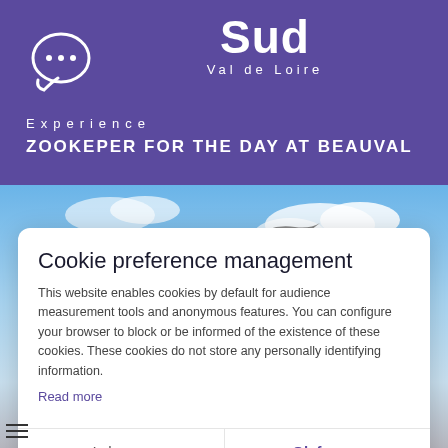[Figure (logo): Sud Val de Loire logo with stylized text and chat bubble icon on purple background]
Experience
ZOOKEPER FOR THE DAY AT BEAUVAL
[Figure (photo): Photo of a bird in flight against a blue sky background]
Cookie preference management
This website enables cookies by default for audience measurement tools and anonymous features. You can configure your browser to block or be informed of the existence of these cookies. These cookies do not store any personally identifying information.
Read more